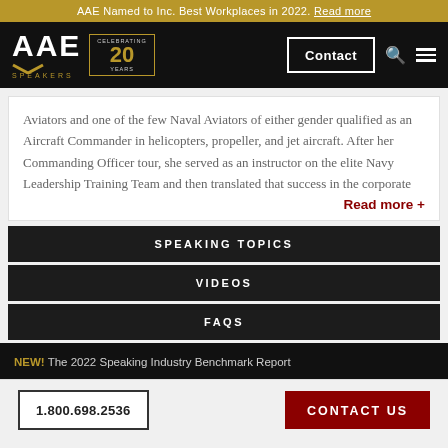AAE Named to Inc. Best Workplaces in 2022. Read more
[Figure (logo): AAE Speakers logo with 'Celebrating 20 Years' badge, Contact button, search and menu icons on black navigation bar]
Aviators and one of the few Naval Aviators of either gender qualified as an Aircraft Commander in helicopters, propeller, and jet aircraft. After her Commanding Officer tour, she served as an instructor on the elite Navy Leadership Training Team and then translated that success in the corporate Read more +
SPEAKING TOPICS
VIDEOS
FAQS
NEW! The 2022 Speaking Industry Benchmark Report
1.800.698.2536   CONTACT US